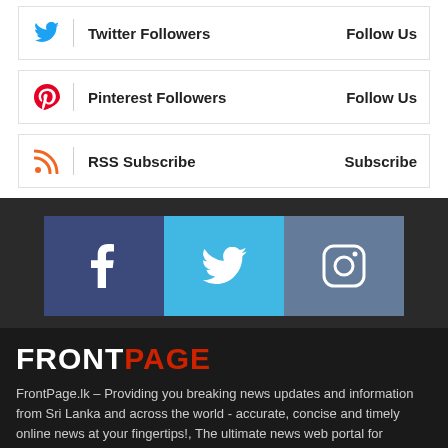Twitter Followers — Follow Us
Pinterest Followers — Follow Us
RSS Subscribe — Subscribe
[Figure (infographic): Three social media icon buttons: Facebook (dark blue), Twitter (light blue), Instagram (slate blue)]
FRONTPAGE
FrontPage.lk – Providing you breaking news updates and information from Sri Lanka and across the world - accurate, concise and timely online news at your fingertips!, The ultimate news web portal for accurate, concise and timely news alerts on Sri Lanka.
• Email: info@frontpage.lk